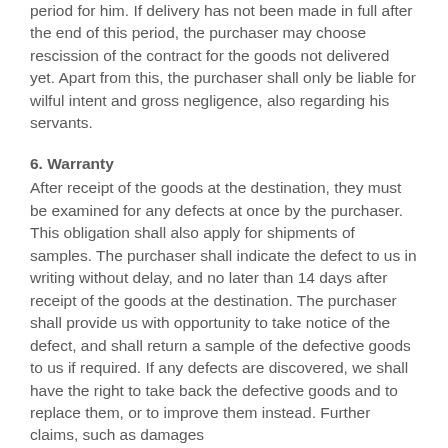period for him. If delivery has not been made in full after the end of this period, the purchaser may choose rescission of the contract for the goods not delivered yet. Apart from this, the purchaser shall only be liable for wilful intent and gross negligence, also regarding his servants.
6. Warranty
After receipt of the goods at the destination, they must be examined for any defects at once by the purchaser. This obligation shall also apply for shipments of samples. The purchaser shall indicate the defect to us in writing without delay, and no later than 14 days after receipt of the goods at the destination. The purchaser shall provide us with opportunity to take notice of the defect, and shall return a sample of the defective goods to us if required. If any defects are discovered, we shall have the right to take back the defective goods and to replace them, or to improve them instead. Further claims, such as damages